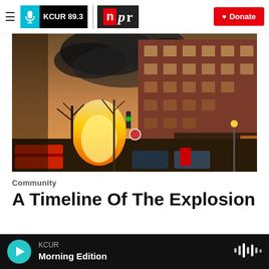KCUR 89.3 | npr | Donate
[Figure (photo): Street scene showing a large explosion with bright orange fire and dark smoke rising near brick apartment buildings and bare trees at dusk]
Community
A Timeline Of The Explosion
Laura Spencer,  February 20, 2013
KCUR Morning Edition